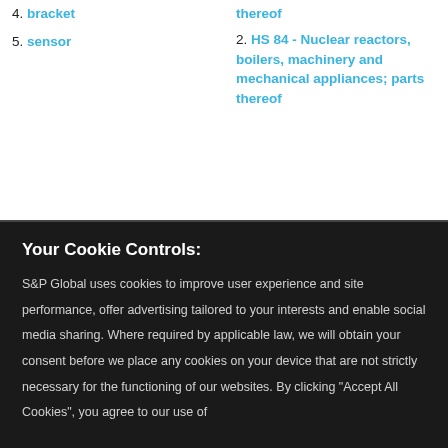4. bracket
5. sensor
thereof
2. HS 84 - Nuclear reactors, boilers, machinery and mechanical appliances; parts thereof
Your Cookie Controls:
S&P Global uses cookies to improve user experience and site performance, offer advertising tailored to your interests and enable social media sharing. Where required by applicable law, we will obtain your consent before we place any cookies on your device that are not strictly necessary for the functioning of our websites. By clicking "Accept All Cookies", you agree to our use of